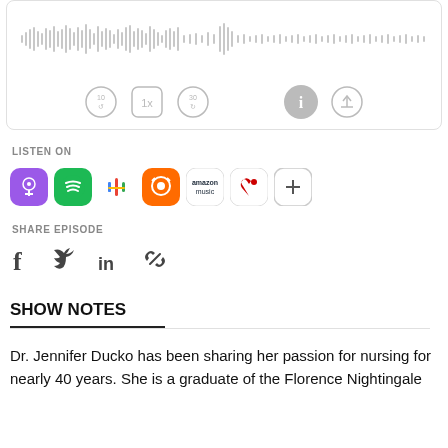[Figure (other): Audio player widget with waveform visualization and playback controls (rewind 10s, 1x speed, forward 30s, info button, share button)]
LISTEN ON
[Figure (infographic): Podcast platform icons: Apple Podcasts (purple), Spotify (green), Google Podcasts (colorful), Overcast (orange), Amazon Music, iHeartRadio (red), plus more button]
SHARE EPISODE
[Figure (infographic): Social share icons: Facebook, Twitter, LinkedIn, link/copy icon]
SHOW NOTES
Dr. Jennifer Ducko has been sharing her passion for nursing for nearly 40 years. She is a graduate of the Florence Nightingale